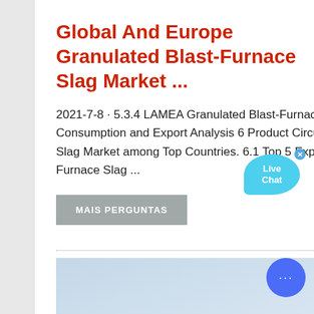Global And Europe Granulated Blast-Furnace Slag Market ...
2021-7-8 · 5.3.4 LAMEA Granulated Blast-Furnace Slag Production, Import, Consumption and Export Analysis 6 Product Circulation of Granulated Blast-Furnace Slag Market among Top Countries. 6.1 Top 5 Export Countries in Granulated Blast-Furnace Slag ...
MAIS PERGUNTAS
[Figure (photo): Photograph of an industrial structure, partially visible at the bottom of the page]